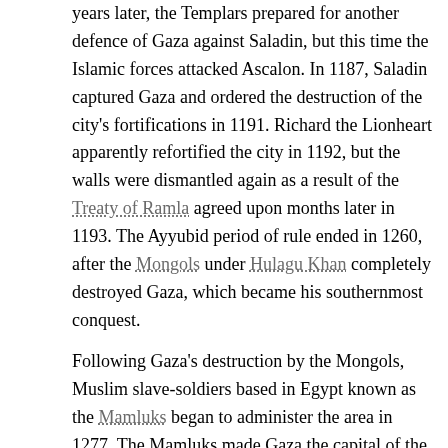years later, the Templars prepared for another defence of Gaza against Saladin, but this time the Islamic forces attacked Ascalon. In 1187, Saladin captured Gaza and ordered the destruction of the city's fortifications in 1191. Richard the Lionheart apparently refortified the city in 1192, but the walls were dismantled again as a result of the Treaty of Ramla agreed upon months later in 1193. The Ayyubid period of rule ended in 1260, after the Mongols under Hulagu Khan completely destroyed Gaza, which became his southernmost conquest.
Following Gaza's destruction by the Mongols, Muslim slave-soldiers based in Egypt known as the Mamluks began to administer the area in 1277. The Mamluks made Gaza the capital of the province that bore its name, Mamlakat Ghazzah ("the